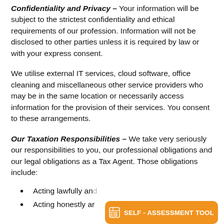Confidentiality and Privacy – Your information will be subject to the strictest confidentiality and ethical requirements of our profession. Information will not be disclosed to other parties unless it is required by law or with your express consent.
We utilise external IT services, cloud software, office cleaning and miscellaneous other service providers who may be in the same location or necessarily access information for the provision of their services. You consent to these arrangements.
Our Taxation Responsibilities – We take very seriously our responsibilities to you, our professional obligations and our legal obligations as a Tax Agent. Those obligations include:
Acting lawfully and…
Acting honestly ar…